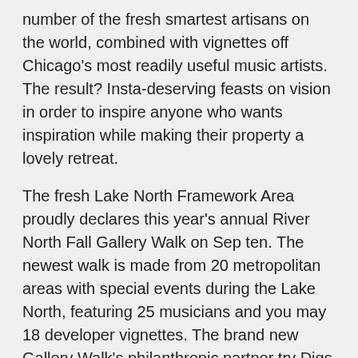number of the fresh smartest artisans on the world, combined with vignettes off Chicago's most readily useful music artists. The result? Insta-deserving feasts on vision in order to inspire anyone who wants inspiration while making their property a lovely retreat.
The fresh Lake North Framework Area proudly declares this year's annual River North Fall Gallery Walk on Sep ten. The newest walk is made from 20 metropolitan areas with special events during the Lake North, featuring 25 musicians and you may 18 developer vignettes. The brand new Gallery Walk's philanthropic partner try Digs with Self-respect, that may found a portion of proceeds.
The latest go is free and you can accessible to the general public with the exception of starting evening functions. Showrooms will have very long hours into the Sep ten and can promote libations courtesy of Tito's Handmade